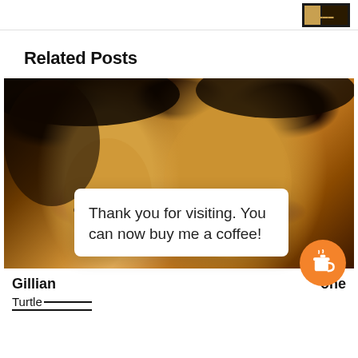[Figure (screenshot): Top bar with dark thumbnail image on right side]
Related Posts
[Figure (photo): Close-up photo of two people's faces with warm orange/brown tones]
Thank you for visiting. You can now buy me a coffee!
Gillian... one Turtle...